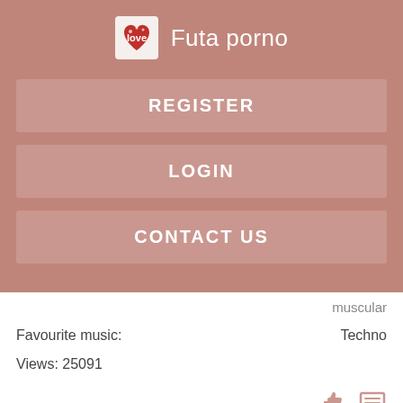Futa porno
REGISTER
LOGIN
CONTACT US
muscular
Favourite music:   Techno
Views: 25091